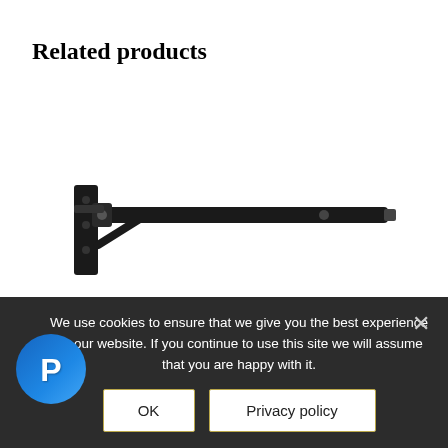Related products
[Figure (photo): A wall bracket / arm for lamps, shown as a black metal horizontal arm with a mounting bracket on the left side, extending to the right.]
Wall Bracket for Lamps
We use cookies to ensure that we give you the best experience on our website. If you continue to use this site we will assume that you are happy with it.
OK
Privacy policy